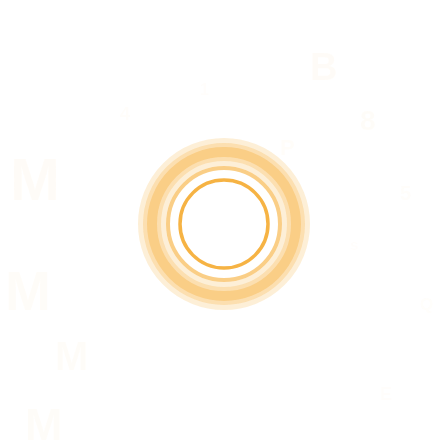[Figure (other): A white background with very faint watermark-like large text characters scattered across the page, and a centrally positioned concentric circle graphic with orange/amber colored rings — an outer diffuse glow ring and an inner solid circle ring.]